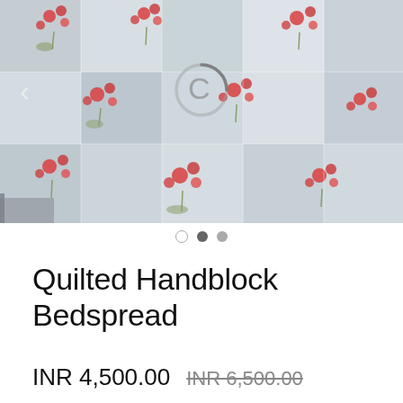[Figure (photo): A quilted handblock bedspread with floral pattern in red/pink flowers on grey-blue background draped over a bed, with a loading spinner icon and left navigation arrow visible over the image.]
○ ● ●
Quilted Handblock Bedspread
INR 4,500.00  INR 6,500.00